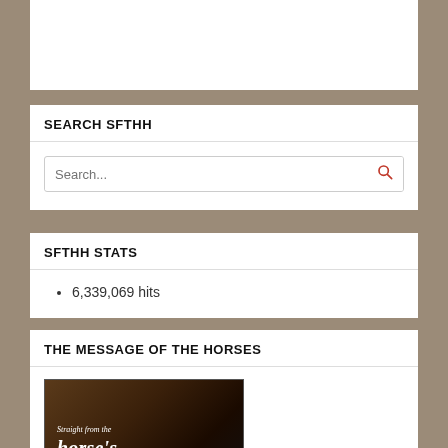SEARCH SFTHH
[Figure (screenshot): Search input box with placeholder text 'Search...' and a red search icon button on the right]
SFTHH STATS
6,339,069 hits
THE MESSAGE OF THE HORSES
[Figure (photo): Book cover showing a horse's head on dark background with text 'Straight from the horse's heart' in white serif font]